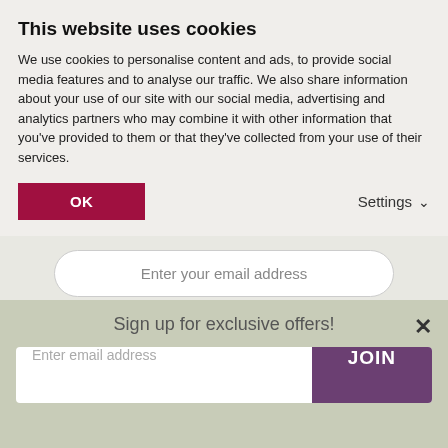This website uses cookies
We use cookies to personalise content and ads, to provide social media features and to analyse our traffic. We also share information about your use of our site with our social media, advertising and analytics partners who may combine it with other information that you've provided to them or that they've collected from your use of their services.
OK
Settings
Enter your email address
JOIN NOW →
Sign up for exclusive offers!
Enter email address
JOIN